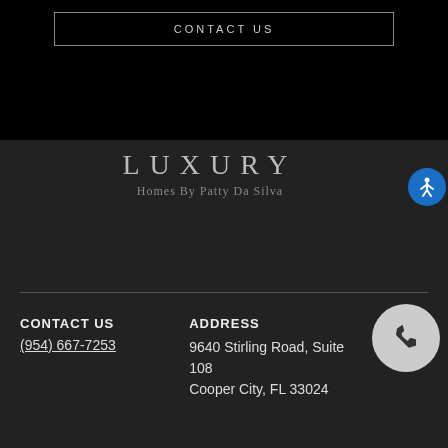CONTACT US
[Figure (logo): Luxury Homes By Patty Da Silva logo]
CONTACT US
(954) 667-7253
ADDRESS
9640 Stirling Road, Suite 108
Cooper City, FL 33024